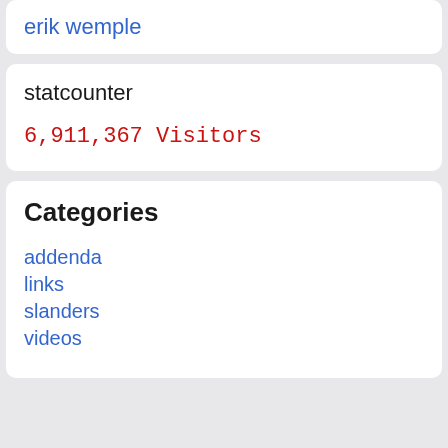erik wemple
statcounter
6,911,367 Visitors
Categories
addenda
links
slanders
videos